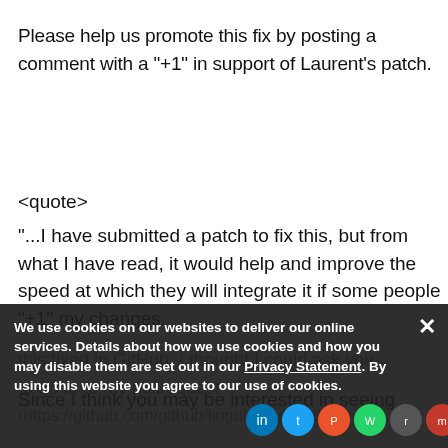Please help us promote this fix by posting a comment with a "+1" in support of Laurent's patch.
<quote>
"...I have submitted a patch to fix this, but from what I have read, it would help and improve the speed at which they will integrate it if some people "+1" my changes.
Since I think you may be interested in seeing this fixed in GitHub, I thought I could ask you to go to to my pullrequest (https://github.com/github/linguist/pull/148)) feel free t...
We use cookies on our websites to deliver our online services. Details about how we use cookies and how you may disable them are set out in our Privacy Statement. By using this website you agree to our use of cookies.